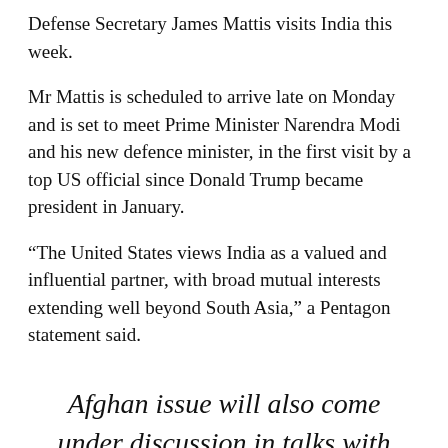Defense Secretary James Mattis visits India this week.
Mr Mattis is scheduled to arrive late on Monday and is set to meet Prime Minister Narendra Modi and his new defence minister, in the first visit by a top US official since Donald Trump became president in January.
“The United States views India as a valued and influential partner, with broad mutual interests extending well beyond South Asia,” a Pentagon statement said.
Afghan issue will also come under discussion in talks with Nirmala Sitharaman